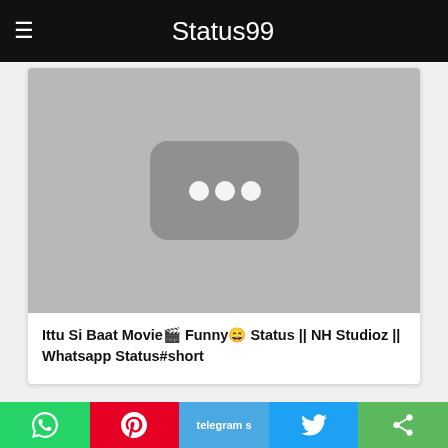Status99
[Figure (screenshot): YouTube video thumbnail placeholder — grey background with rounded rectangle containing three white dots (loading indicator)]
Ittu Si Baat Movie🎬 Funny😄 Status || NH Studioz || Whatsapp Status#short
[Figure (photo): Bottom content strip showing three thumbnail images: orange movie poster with 'ittu si baat' text, person's face on dark background, and a person wearing a turban]
[Figure (infographic): Bottom share bar with WhatsApp (green), Pinterest (red), Telegram (blue), Twitter (light blue), and Share (green) buttons]